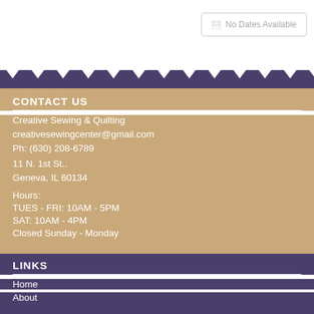No Dates Available
CONTACT US
Creative Sewing & Quilting
creativesewingcenter@gmail.com
Ph: (630) 208-6789
11 N. 1st St..
Geneva, IL 60134
Hours:
TUES - FRI: 10AM - 5PM
SAT: 10AM - 4PM
Closed Sunday - Monday
LINKS
Home
About